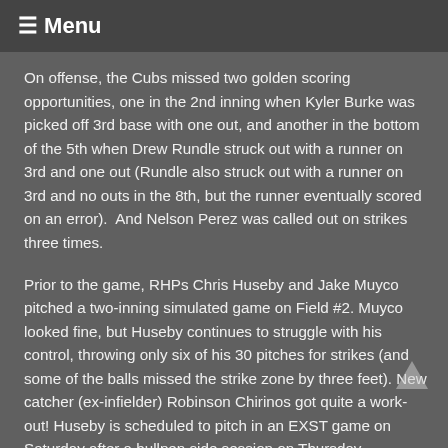☰ Menu
On offense, the Cubs missed two golden scoring opportunities, one in the 2nd inning when Kyler Burke was picked off 3rd base with one out, and another in the bottom of the 5th when Drew Rundle struck out with a runner on 3rd and one out (Rundle also struck out with a runner on 3rd and no outs in the 8th, but the runner eventually scored on an error).  And Nelson Perez was called out on strikes three times.
Prior to the game, RHPs Chris Huseby and Jake Muyco pitched a two-inning simulated game on Field #2. Muyco looked fine, but Huseby continues to struggle with his control, throwing only six of his 30 pitches for strikes (and some of the balls missed the strike zone by three feet). New catcher (ex-infielder) Robinson Chirinos got quite a work-out! Huseby is scheduled to pitch in an EXST game on Saturday after a bullpen side session on Thursday.
In EXST news, 2B-SS Starlin Castro has returned to action after missing several days with a finger injury, 2B Jeffrey Rea (quad) is